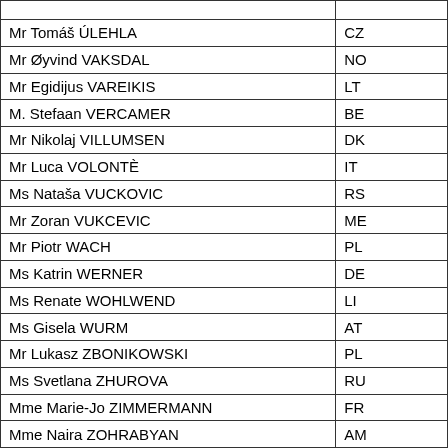| Name | Country |
| --- | --- |
| Mr Tomáš ÚLEHLA | CZ |
| Mr Øyvind VAKSDAL | NO |
| Mr Egidijus VAREIKIS | LT |
| M. Stefaan VERCAMER | BE |
| Mr Nikolaj VILLUMSEN | DK |
| Mr Luca VOLONTÈ | IT |
| Ms Nataša VUCKOVIC | RS |
| Mr Zoran VUKCEVIC | ME |
| Mr Piotr WACH | PL |
| Ms Katrin WERNER | DE |
| Ms Renate WOHLWEND | LI |
| Ms Gisela WURM | AT |
| Mr Lukasz ZBONIKOWSKI | PL |
| Ms Svetlana ZHUROVA | RU |
| Mme Marie-Jo ZIMMERMANN | FR |
| Mme Naira ZOHRABYAN | AM |